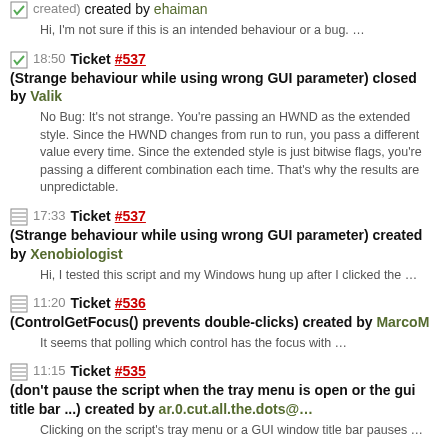created) created by ehaiman
Hi, I'm not sure if this is an intended behaviour or a bug. …
18:50 Ticket #537 (Strange behaviour while using wrong GUI parameter) closed by Valik
No Bug: It's not strange. You're passing an HWND as the extended style. Since the HWND changes from run to run, you pass a different value every time. Since the extended style is just bitwise flags, you're passing a different combination each time. That's why the results are unpredictable.
17:33 Ticket #537 (Strange behaviour while using wrong GUI parameter) created by Xenobiologist
Hi, I tested this script and my Windows hung up after I clicked the …
11:20 Ticket #536 (ControlGetFocus() prevents double-clicks) created by MarcoM
It seems that polling which control has the focus with …
11:15 Ticket #535 (don't pause the script when the tray menu is open or the gui title bar ...) created by ar.0.cut.all.the.dots@…
Clicking on the script's tray menu or a GUI window title bar pauses …
08/24/08:
04:19 Ticket #534 (Binary() is ****ed up) closed by Valik
No Bug: It looks correct to me. It stores the int 256 in binary format which is 0x00000100 in hex. But here's the catch, it's stored in little-endian which is why you see it as 0x00010000. You can use this line to see how the bytes